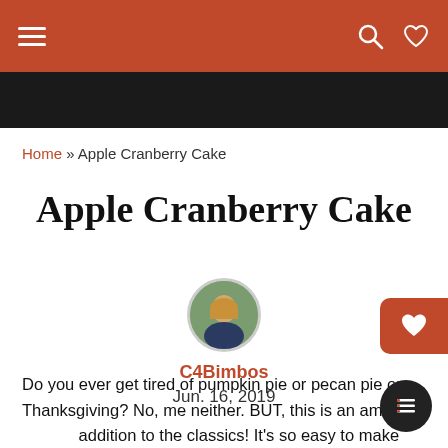Navigation bar with hamburger menu, search and heart icons
Home » Apple Cranberry Cake
Apple Cranberry Cake
C4Bimbos
Jun. 16, 2019
Do you ever get tired of pumpkin pie or pecan pie on Thanksgiving? No, me neither. BUT, this is an amazing addition to the classics! It's so easy to make and has all the flavor of the holidays in it. Happy Thanksgiving!